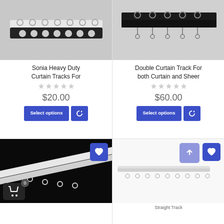[Figure (photo): Photo of Sonia Heavy Duty Curtain Tracks – silver and black metal track with rings, close-up view]
Sonia Heavy Duty Curtain Tracks For
$20.00
Select options
[Figure (photo): Photo of Double Curtain Track for both Curtain and Sheer – black square track with rings]
Double Curtain Track For both Curtain and Sheer
$60.00
Select options
[Figure (photo): Photo of a white curtain track on black background with cart icon and heart button overlay]
[Figure (photo): Photo of a straight white curtain track on white background with scroll-up and heart button overlay, labeled Straight Track]